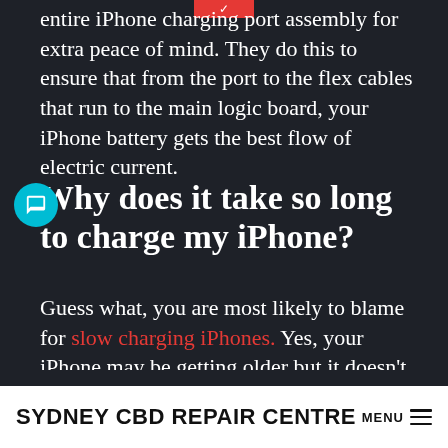entire iPhone charging port assembly for extra peace of mind. They do this to ensure that from the port to the flex cables that run to the main logic board, your iPhone battery gets the best flow of electric current.
Why does it take so long to charge my iPhone?
Guess what, you are most likely to blame for slow charging iPhones. Yes, your iPhone may be getting older but it doesn't mean that
SYDNEY CBD REPAIR CENTRE  MENU ≡